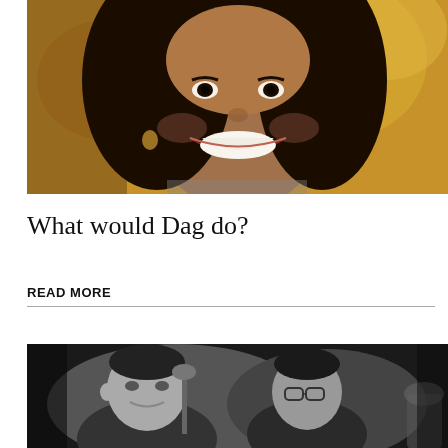[Figure (photo): Close-up photo of a smiling young woman with long dark hair, warm golden/bokeh background.]
What would Dag do?
READ MORE
[Figure (photo): Black and white photo of two men, one speaking at a microphone.]